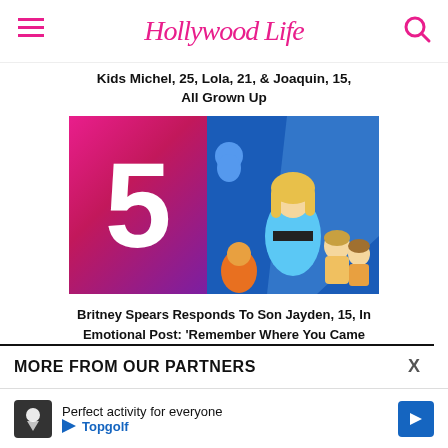Hollywood Life
Kids Michel, 25, Lola, 21, & Joaquin, 15, All Grown Up
[Figure (photo): Composite image: pink/purple gradient square with large white number 5, next to a photo of Britney Spears in a blue outfit standing with two young boys against a blue background with cartoon characters]
Britney Spears Responds To Son Jayden, 15, In Emotional Post: 'Remember Where You Came From'
MORE FROM OUR PARTNERS
Perfect activity for everyone Topgolf